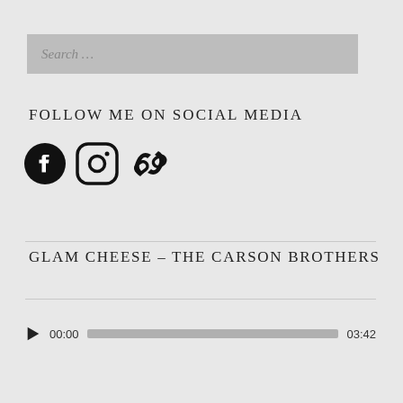Search …
FOLLOW ME ON SOCIAL MEDIA
[Figure (infographic): Three social media icons: Facebook circle icon, Instagram icon, and a chain/link icon, all in black]
GLAM CHEESE – THE CARSON BROTHERS
[Figure (other): Audio player with play button, time display 00:00, progress bar, and end time 03:42]